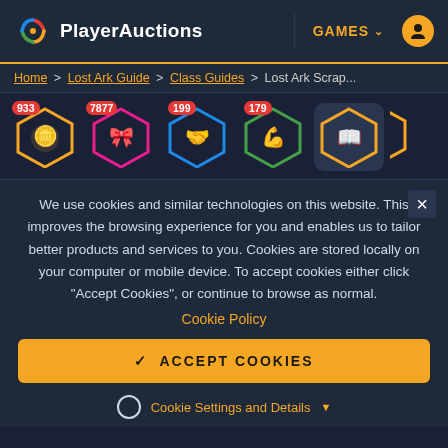PlayerAuctions — GAMES navigation bar
Home > Lost Ark Guide > Class Guides > Lost Ark Scrap...
[Figure (screenshot): Row of game category badge icons with counts: 933, 7877, 199, 179, and a book icon badge on dark background]
We use cookies and similar technologies on this website. This improves the browsing experience for you and enables us to tailor better products and services to you. Cookies are stored locally on your computer or mobile device. To accept cookies either click "Accept Cookies", or continue to browse as normal.
Cookie Policy
✓ ACCEPT COOKIES
Cookie Settings and Details ▼